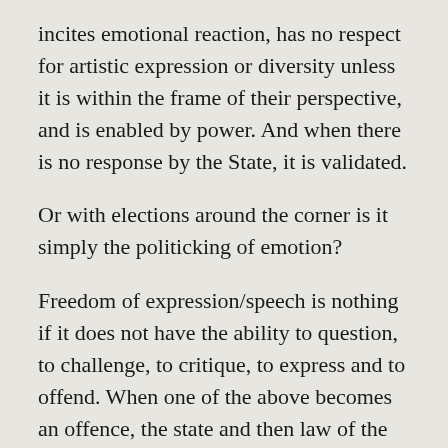incites emotional reaction, has no respect for artistic expression or diversity unless it is within the frame of their perspective, and is enabled by power. And when there is no response by the State, it is validated.
Or with elections around the corner is it simply the politicking of emotion?
Freedom of expression/speech is nothing if it does not have the ability to question, to challenge, to critique, to express and to offend. When one of the above becomes an offence, the state and then law of the land have a responsibility to act. Right now the person/s who called for beheadings, which is threat to life, should be challenged by the law. They should be stood down by organisations and parties that they represent. As the streets become more vitriolic with violent incitement, we arrive at a point where the